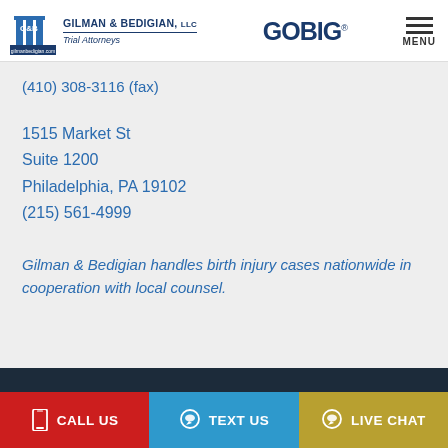Gilman & Bedigian, LLC Trial Attorneys | GOBIG | MENU
(410) 308-3116 (fax)
1515 Market St
Suite 1200
Philadelphia, PA 19102
(215) 561-4999
Gilman & Bedigian handles birth injury cases nationwide in cooperation with local counsel.
CALL US | TEXT US | LIVE CHAT